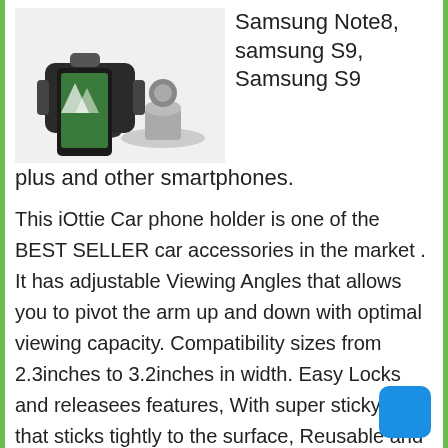[Figure (photo): iOttie car phone holder mount with suction cup base, holding a smartphone, shown against a white background]
Samsung Note8, samsung S9, Samsung S9 plus and other smartphones.
This iOttie Car phone holder is one of the BEST SELLER car accessories in the market . It has adjustable Viewing Angles that allows you to pivot the arm up and down with optimal viewing capacity. Compatibility sizes from 2.3inches to 3.2inches in width. Easy Locks and releasees features, With super sticky pad that sticks tightly to the surface, Reusable and Washable,  rinse with warm water and dry with air.